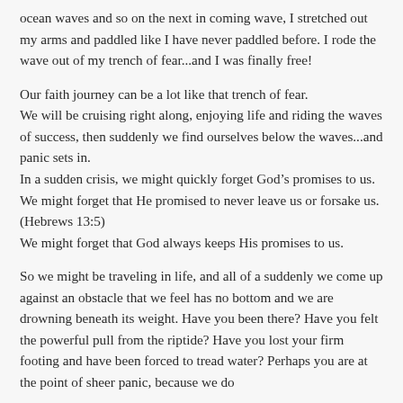ocean waves and so on the next in coming wave, I stretched out my arms and paddled like I have never paddled before. I rode the wave out of my trench of fear...and I was finally free!
Our faith journey can be a lot like that trench of fear. We will be cruising right along, enjoying life and riding the waves of success, then suddenly we find ourselves below the waves...and panic sets in. In a sudden crisis, we might quickly forget God’s promises to us. We might forget that He promised to never leave us or forsake us. (Hebrews 13:5) We might forget that God always keeps His promises to us.
So we might be traveling in life, and all of a suddenly we come up against an obstacle that we feel has no bottom and we are drowning beneath its weight. Have you been there? Have you felt the powerful pull from the riptide? Have you lost your firm footing and have been forced to tread water? Perhaps you are at the point of sheer panic, because we do